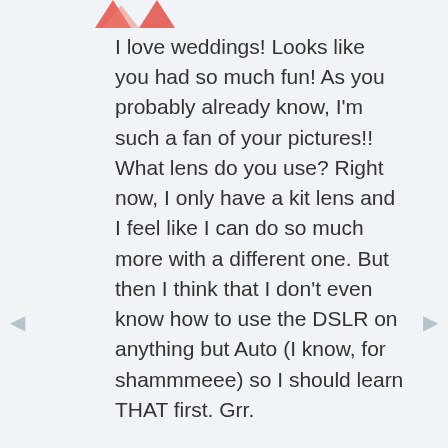[Figure (photo): Partial view of a decorative icon/logo with red/orange arrows at top left, partially cropped]
I love weddings! Looks like you had so much fun! As you probably already know, I'm such a fan of your pictures!! What lens do you use? Right now, I only have a kit lens and I feel like I can do so much more with a different one. But then I think that I don't even know how to use the DSLR on anything but Auto (I know, for shammmeee) so I should learn THAT first. Grr.
Reply
[Figure (photo): Avatar photo of a woman with pink hair wearing a winter hat, holding a baby, outdoors in snowy setting]
GRETCHEN
11 YEARS AGO
Thanks girrrrl. Yeah, I reject my kit lens and pretty much don't even acknowledge its existence at this point (I really should...